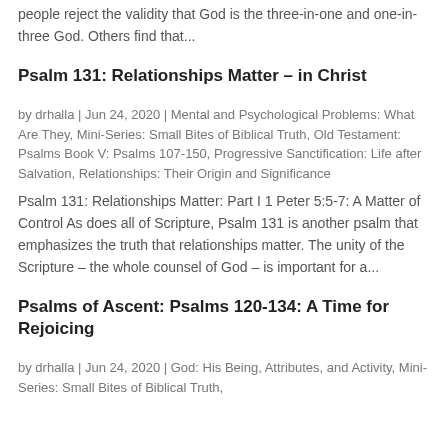people reject the validity that God is the three-in-one and one-in-three God. Others find that...
Psalm 131: Relationships Matter – in Christ
by drhalla | Jun 24, 2020 | Mental and Psychological Problems: What Are They, Mini-Series: Small Bites of Biblical Truth, Old Testament: Psalms Book V: Psalms 107-150, Progressive Sanctification: Life after Salvation, Relationships: Their Origin and Significance
Psalm 131: Relationships Matter: Part I 1 Peter 5:5-7: A Matter of Control As does all of Scripture, Psalm 131 is another psalm that emphasizes the truth that relationships matter. The unity of the Scripture – the whole counsel of God – is important for a...
Psalms of Ascent: Psalms 120-134: A Time for Rejoicing
by drhalla | Jun 24, 2020 | God: His Being, Attributes, and Activity, Mini-Series: Small Bites of Biblical Truth,